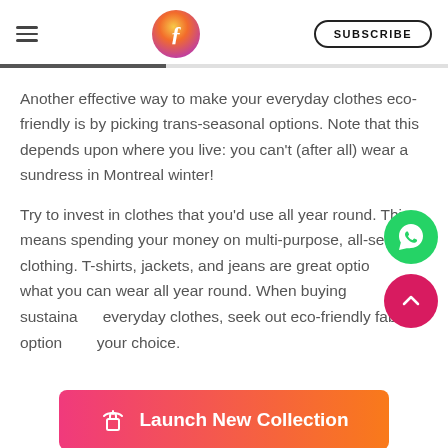SUBSCRIBE
Another effective way to make your everyday clothes eco-friendly is by picking trans-seasonal options. Note that this depends upon where you live: you can't (after all) wear a sundress in Montreal winter!
Try to invest in clothes that you'd use all year round. This means spending your money on multi-purpose, all-season clothing. T-shirts, jackets, and jeans are great options for what you can wear all year round. When buying sustainable everyday clothes, seek out eco-friendly fabric options for your choice.
[Figure (logo): Launch New Collection button with shirt icon, gradient pink to orange background]
Launch New Collection